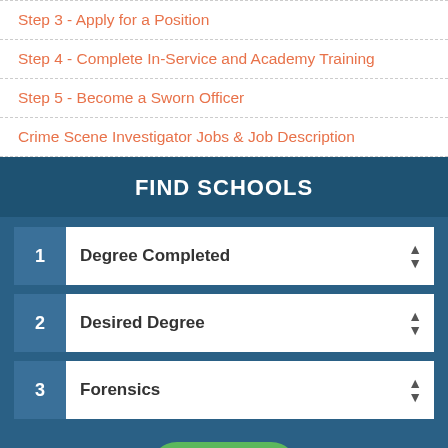Step 3 - Apply for a Position
Step 4 - Complete In-Service and Academy Training
Step 5 - Become a Sworn Officer
Crime Scene Investigator Jobs & Job Description
FIND SCHOOLS
1 Degree Completed
2 Desired Degree
3 Forensics
GO!
Sponsored Content